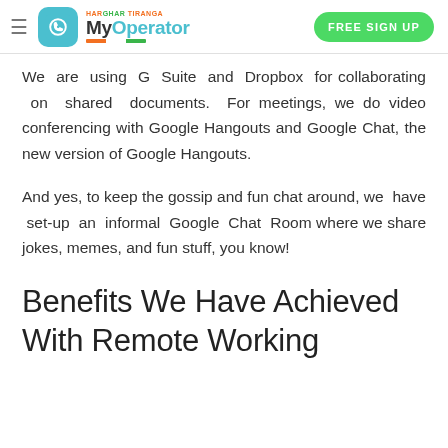MyOperator — HAR GHAR TIRANGA — FREE SIGN UP
We are using G Suite and Dropbox for collaborating on shared documents. For meetings, we do video conferencing with Google Hangouts and Google Chat, the new version of Google Hangouts.
And yes, to keep the gossip and fun chat around, we have set-up an informal Google Chat Room where we share jokes, memes, and fun stuff, you know!
Benefits We Have Achieved With Remote Working